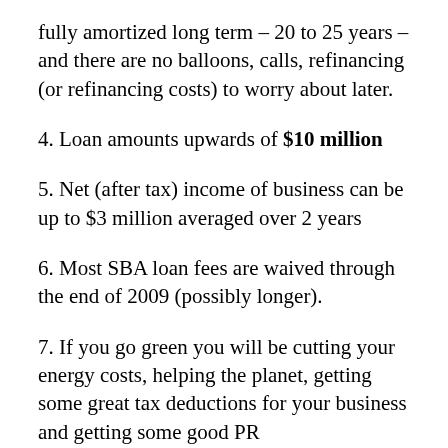fully amortized long term – 20 to 25 years – and there are no balloons, calls, refinancing (or refinancing costs) to worry about later.
4. Loan amounts upwards of $10 million
5. Net (after tax) income of business can be up to $3 million averaged over 2 years
6. Most SBA loan fees are waived through the end of 2009 (possibly longer).
7. If you go green you will be cutting your energy costs, helping the planet, getting some great tax deductions for your business and getting some good PR